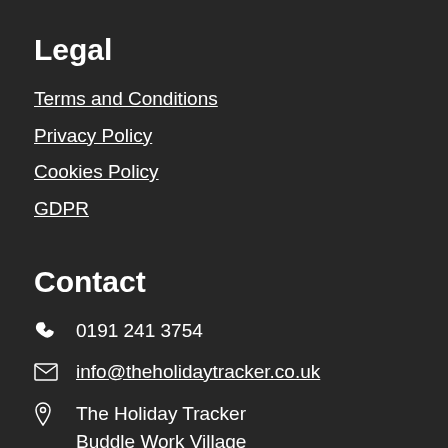Legal
Terms and Conditions
Privacy Policy
Cookies Policy
GDPR
Contact
0191 241 3754
info@theholidaytracker.co.uk
The Holiday Tracker
Buddle Work Village